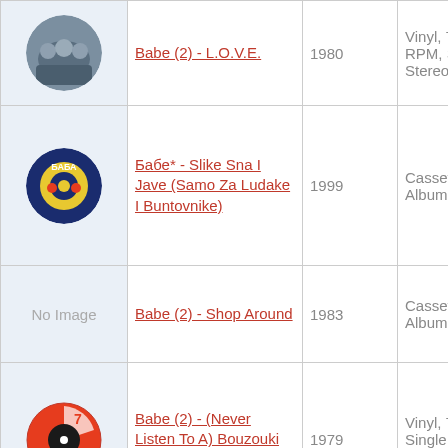| Image | Title | Year | Format |
| --- | --- | --- | --- |
| [photo] | Babe (2) - L.O.V.E. | 1980 | Vinyl, 7", 45 RPM, Single, Stereo |
| [photo] | Бабе* - Slike Sna I Jave (Samo Za Ludake I Buntovnike) | 1999 | Cassette, Album |
| No Image | Babe (2) - Shop Around | 1983 | Cassette, Album |
| [photo] | Babe (2) - (Never Listen To A) Bouzouki Player | 1979 | Vinyl, 7", Single, 45 RPM |
| [photo] | Babe (2) - (Never Listen | 1979 | Vinyl, 7", 45 RPM, Single, |